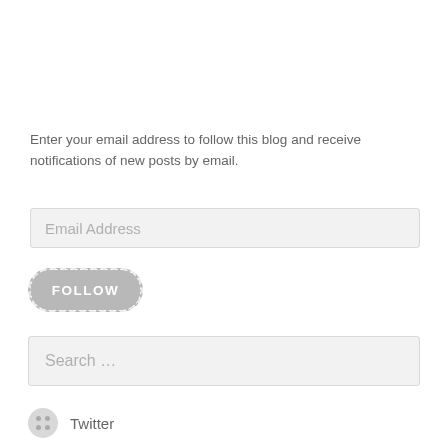Enter your email address to follow this blog and receive notifications of new posts by email.
[Figure (screenshot): Email Address input field (text input box with placeholder 'Email Address')]
[Figure (screenshot): Follow button with dashed border and label 'FOLLOW']
[Figure (screenshot): Search input field with placeholder 'Search ...']
Twitter